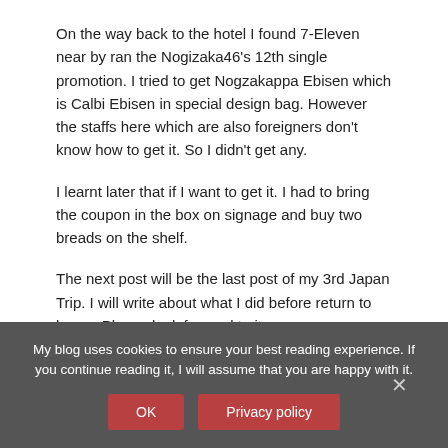On the way back to the hotel I found 7-Eleven near by ran the Nogizaka46's 12th single promotion. I tried to get Nogzakappa Ebisen which is Calbi Ebisen in special design bag. However the staffs here which are also foreigners don't know how to get it. So I didn't get any.
I learnt later that if I want to get it. I had to bring the coupon in the box on signage and buy two breads on the shelf.
The next post will be the last post of my 3rd Japan Trip. I will write about what I did before return to home. Please look forward to it.
Post in Life
My blog uses cookies to ensure your best reading experience. If you continue reading it, I will assume that you are happy with it.